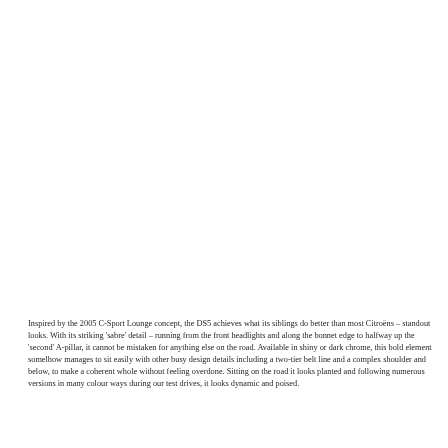Inspired by the 2005 C-Sport Lounge concept, the DS5 achieves what its siblings do better than most Citroëns – standout looks. With its striking 'sabre' detail – running from the front headlights and along the bonnet edge to halfway up the 'second' A-pillar, it cannot be mistaken for anything else on the road. Available in shiny or dark chrome, this bold element somehow manages to sit easily with other busy design details including a two-tier belt line and a complex shoulder and below, to make a coherent whole without feeling overdone. Sitting on the road it looks planted and following numerous versions in many colour ways during our test drives, it looks dynamic and poised.